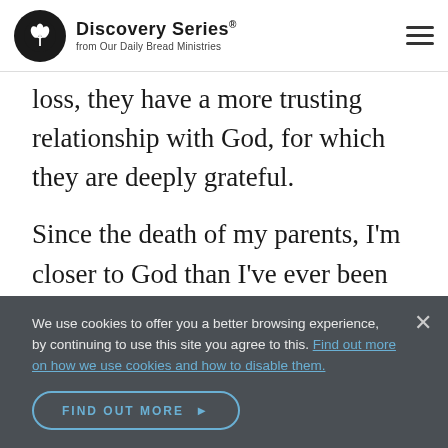Discovery Series. from Our Daily Bread Ministries
loss, they have a more trusting relationship with God, for which they are deeply grateful.
Since the death of my parents, I'm closer to God than I've ever been before. I'm closer to Jesus who has made resurrection life possible for all who have trusted Him, whether dead or alive (John 11:25-26). I'm certainly more aware of how
We use cookies to offer you a better browsing experience, by continuing to use this site you agree to this. Find out more on how we use cookies and how to disable them.
FIND OUT MORE ▶